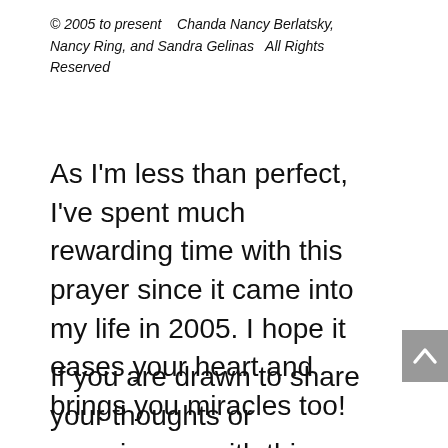© 2005 to present   Chanda Nancy Berlatsky, Nancy Ring, and Sandra Gelinas  All Rights Reserved
As I'm less than perfect, I've spent much rewarding time with this prayer since it came into my life in 2005. I hope it eases your heart and brings you miracles too!
If you are drawn to share your thoughts or experiences with this Prayer of Forgiveness, I would be honored to read your comments